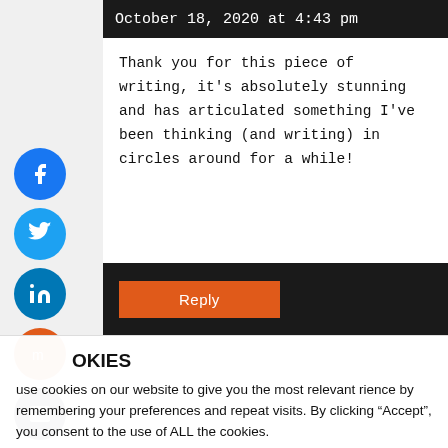October 18, 2020 at 4:43 pm
Thank you for this piece of writing, it's absolutely stunning and has articulated something I've been thinking (and writing) in circles around for a while!
Reply
COOKIES
use cookies on our website to give you the most relevant rience by remembering your preferences and repeat visits. By clicking “Accept”, you consent to the use of ALL the cookies.
Cookie settings
ACCEPT